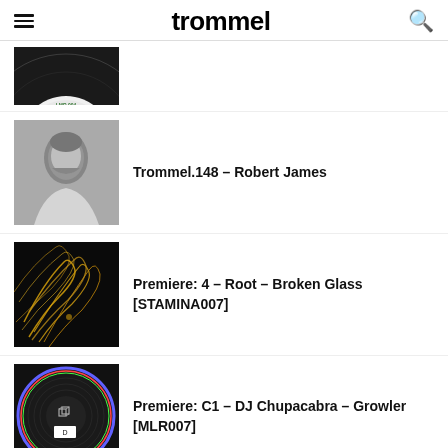trommel
[Figure (photo): Partial vinyl record label showing '75006' in green text on black and white background]
[Figure (photo): Black and white portrait photo of Robert James]
Trommel.148 – Robert James
[Figure (photo): Dark abstract image with golden streaks for STAMINA007 release]
Premiere: 4 – Root – Broken Glass [STAMINA007]
[Figure (photo): Black vinyl record with colorful rim for MLR007 release]
Premiere: C1 – DJ Chupacabra – Growler [MLR007]
[Figure (photo): Colorful abstract pink and green pattern artwork]
Premiere: 2 – Alain de Saracho – Electric Koolaide (iO Mulen...